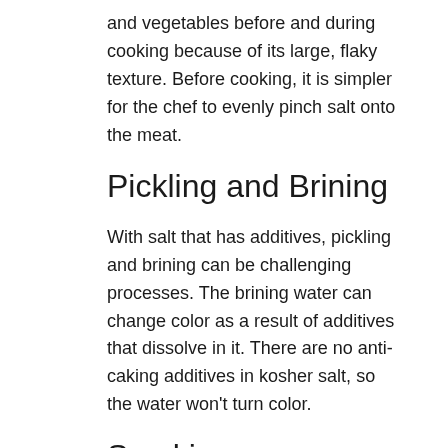and vegetables before and during cooking because of its large, flaky texture. Before cooking, it is simpler for the chef to evenly pinch salt onto the meat.
Pickling and Brining
With salt that has additives, pickling and brining can be challenging processes. The brining water can change color as a result of additives that dissolve in it. There are no anti-caking additives in kosher salt, so the water won’t turn color.
Smoking
One of our favorite methods for giving the meat a unique flavor is smoking. Using dense salt